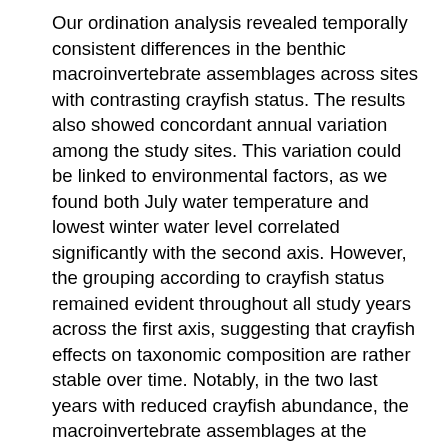Our ordination analysis revealed temporally consistent differences in the benthic macroinvertebrate assemblages across sites with contrasting crayfish status. The results also showed concordant annual variation among the study sites. This variation could be linked to environmental factors, as we found both July water temperature and lowest winter water level correlated significantly with the second axis. However, the grouping according to crayfish status remained evident throughout all study years across the first axis, suggesting that crayfish effects on taxonomic composition are rather stable over time. Notably, in the two last years with reduced crayfish abundance, the macroinvertebrate assemblages at the crayfish site shifted towards those at the sites with no or low crayfish abundance along the first or 'crayfish effect' axis.
Few studies have documented any effects of invasive crayfish on other biota in the early stages of invasion. Wilson et al. (2004) and McCarthy et al. (2006) showed that after rusty crayfish (Orconectes rusticus) invasion,